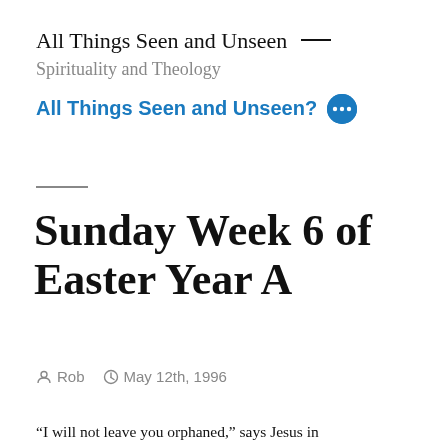All Things Seen and Unseen — Spirituality and Theology
All Things Seen and Unseen?
Sunday Week 6 of Easter Year A
Rob   May 12th, 1996
“I will not leave you orphaned,” says Jesus in